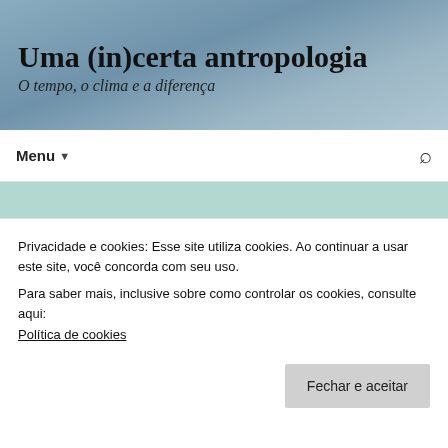Uma (in)certa antropologia
O tempo, o clima e a diferença
Menu ▼
Arquivo mensal: janeiro 2013
New Research Shows Complexity of Global Warming (Science Daily)
Privacidade e cookies: Esse site utiliza cookies. Ao continuar a usar este site, você concorda com seu uso.
Para saber mais, inclusive sobre como controlar os cookies, consulte aqui:
Política de cookies
Fechar e aceitar